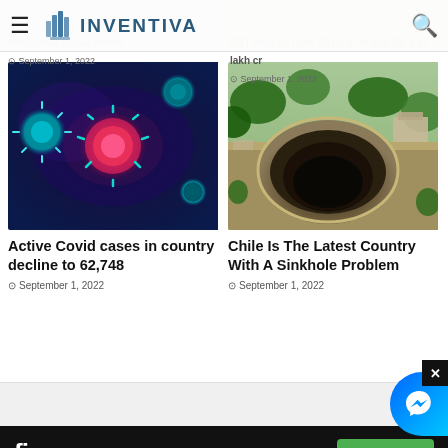INVENTIVA
amid weak global trends — September 1, 2022
GST mop up rises 28 pc in Aug to Rs 1.43 lakh cr — September 1, 2022
[Figure (photo): Microscopic rendering of Covid-19 coronavirus particles in blue and pink tones]
Active Covid cases in country decline to 62,748
September 1, 2022
[Figure (photo): Aerial drone photo of a large sinkhole surrounded by trees and buildings in Chile]
Chile Is The Latest Country With A Sinkhole Problem
September 1, 2022
[Figure (screenshot): Fiverr advertisement banner with dark background, Fiverr logo and green Start Now button]
Facebook social share bar at bottom